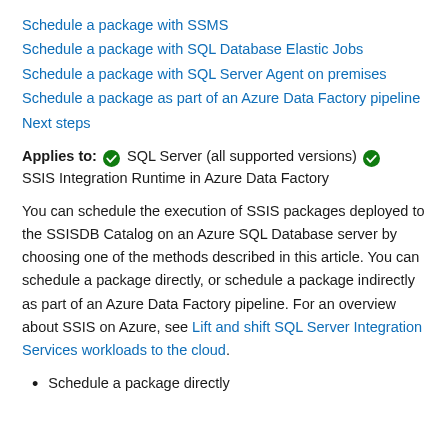Schedule a package with SSMS
Schedule a package with SQL Database Elastic Jobs
Schedule a package with SQL Server Agent on premises
Schedule a package as part of an Azure Data Factory pipeline
Next steps
Applies to: SQL Server (all supported versions) SSIS Integration Runtime in Azure Data Factory
You can schedule the execution of SSIS packages deployed to the SSISDB Catalog on an Azure SQL Database server by choosing one of the methods described in this article. You can schedule a package directly, or schedule a package indirectly as part of an Azure Data Factory pipeline. For an overview about SSIS on Azure, see Lift and shift SQL Server Integration Services workloads to the cloud.
Schedule a package directly